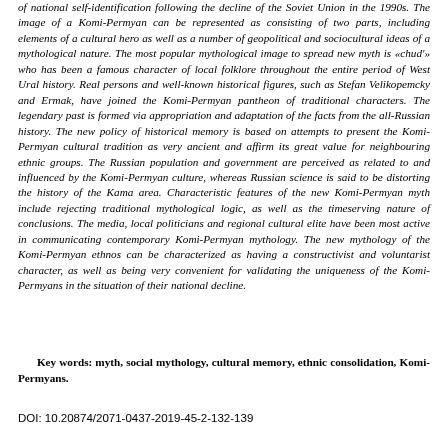of national self-identification following the decline of the Soviet Union in the 1990s. The image of a Komi-Permyan can be represented as consisting of two parts, including elements of a cultural hero as well as a number of geopolitical and sociocultural ideas of a mythological nature. The most popular mythological image to spread new myth is «chud'» who has been a famous character of local folklore throughout the entire period of West Ural history. Real persons and well-known historical figures, such as Stefan Velikopemcky and Ermak, have joined the Komi-Permyan pantheon of traditional characters. The legendary past is formed via appropriation and adaptation of the facts from the all-Russian history. The new policy of historical memory is based on attempts to present the Komi-Permyan cultural tradition as very ancient and affirm its great value for neighbouring ethnic groups. The Russian population and government are perceived as related to and influenced by the Komi-Permyan culture, whereas Russian science is said to be distorting the history of the Kama area. Characteristic features of the new Komi-Permyan myth include rejecting traditional mythological logic, as well as the timeserving nature of conclusions. The media, local politicians and regional cultural elite have been most active in communicating contemporary Komi-Permyan mythology. The new mythology of the Komi-Permyan ethnos can be characterized as having a constructivist and voluntarist character, as well as being very convenient for validating the uniqueness of the Komi-Permyans in the situation of their national decline.
Key words: myth, social mythology, cultural memory, ethnic consolidation, Komi-Permyans.
DOI: 10.20874/2071-0437-2019-45-2-132-139